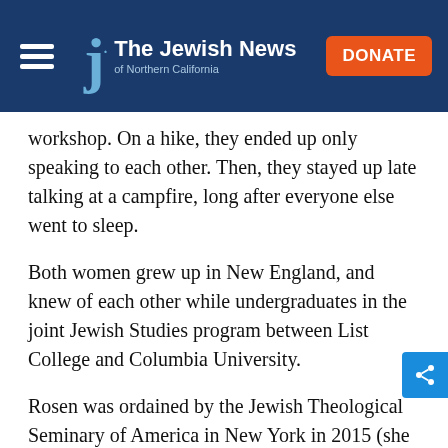The Jewish News of Northern California
workshop. On a hike, they ended up only speaking to each other. Then, they stayed up late talking at a campfire, long after everyone else went to sleep.
Both women grew up in New England, and knew of each other while undergraduates in the joint Jewish Studies program between List College and Columbia University.
Rosen was ordained by the Jewish Theological Seminary of America in New York in 2015 (she is one of four people in her immediate family to have attended JTS). Walker was ordained by the Ziegler School of Rabbinic Studies at the American Jewish University in Los Angeles in 2016.